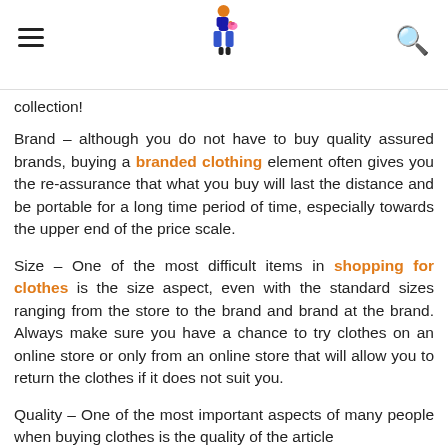BLUE STAR
collection!
Brand – although you do not have to buy quality assured brands, buying a branded clothing element often gives you the re-assurance that what you buy will last the distance and be portable for a long time period of time, especially towards the upper end of the price scale.
Size – One of the most difficult items in shopping for clothes is the size aspect, even with the standard sizes ranging from the store to the brand and brand at the brand. Always make sure you have a chance to try clothes on an online store or only from an online store that will allow you to return the clothes if it does not suit you.
Quality – One of the most important aspects of many people when buying clothes is the quality of the article